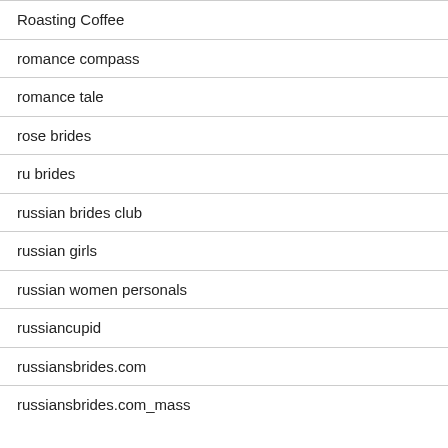Roasting Coffee
romance compass
romance tale
rose brides
ru brides
russian brides club
russian girls
russian women personals
russiancupid
russiansbrides.com
russiansbrides.com_mass